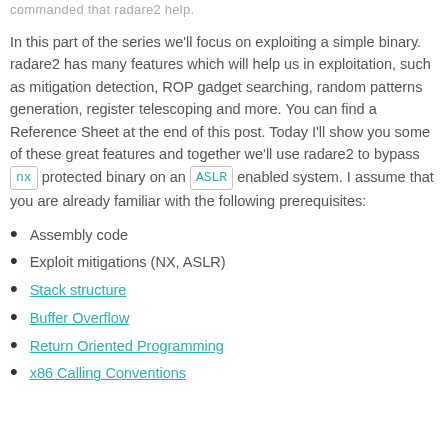commanded that radare2 help.
In this part of the series we'll focus on exploiting a simple binary. radare2 has many features which will help us in exploitation, such as mitigation detection, ROP gadget searching, random patterns generation, register telescoping and more. You can find a Reference Sheet at the end of this post. Today I'll show you some of these great features and together we'll use radare2 to bypass nx protected binary on an ASLR enabled system. I assume that you are already familiar with the following prerequisites:
Assembly code
Exploit mitigations (NX, ASLR)
Stack structure
Buffer Overflow
Return Oriented Programming
x86 Calling Conventions